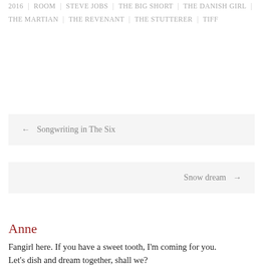2016 | ROOM | STEVE JOBS | THE BIG SHORT | THE DANISH GIRL | THE MARTIAN | THE REVENANT | THE STUTTERER | TIFF
← Songwriting in The Six
Snow dream →
Anne
Fangirl here. If you have a sweet tooth, I'm coming for you. Let's dish and dream together, shall we?
Have Your Say
Leave a Reply